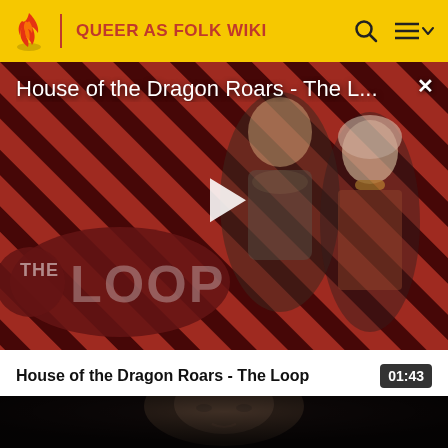QUEER AS FOLK WIKI
[Figure (screenshot): Video thumbnail for 'House of the Dragon Roars - The L...' showing two characters from House of the Dragon against a diagonal red and black striped background with 'THE LOOP' logo overlay and a white play button in the center]
House of the Dragon Roars - The L...
House of the Dragon Roars - The Loop
01:43
[Figure (screenshot): Bottom portion of a second video thumbnail showing a close-up of a woman's face in dark/dim lighting]